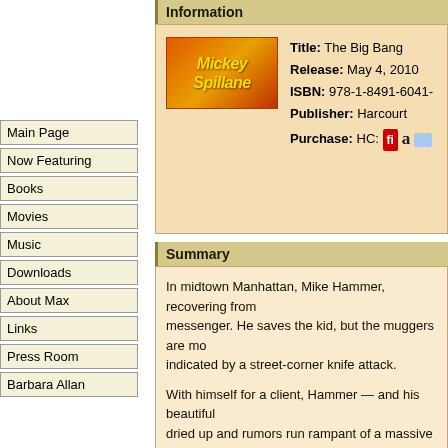Information
[Figure (illustration): Mickey Spillane book cover with orange-red gradient background and yellow italic text reading 'Mickey Spillane']
Title: The Big Bang
Release: May 4, 2010
ISBN: 978-1-8491-6041-
Publisher: Harcourt
Purchase: HC: [icons]
Main Page
Now Featuring
Books
Movies
Music
Downloads
About Max
Links
Press Room
Barbara Allan
Summary
In midtown Manhattan, Mike Hammer, recovering fro... messenger. He saves the kid, but the muggers are m... indicated by a street-corner knife attack.
With himself for a client, Hammer — and his beautifu... dried up and rumors run rampant of a massive heroi...